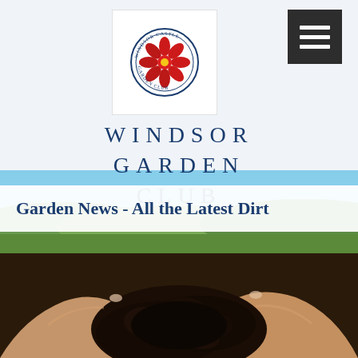[Figure (logo): Windsor Garden Club circular logo with red flower/poppy in center, text around border]
WINDSOR GARDEN CLUB
Garden News - All the Latest Dirt
[Figure (photo): Two hands holding dark garden soil/dirt, close-up photograph]